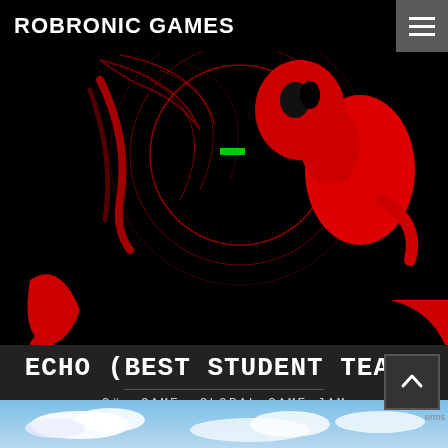ROBRONIC GAMES
[Figure (screenshot): Dark game screenshot with red stylized character figures on black background, red circular design elements, small green bar indicator]
ECHO (BEST STUDENT TEAM)
C#, GAME, GLOBAL GAME JAM
[Figure (screenshot): Bottom strip showing a blue sky with clouds game scene]